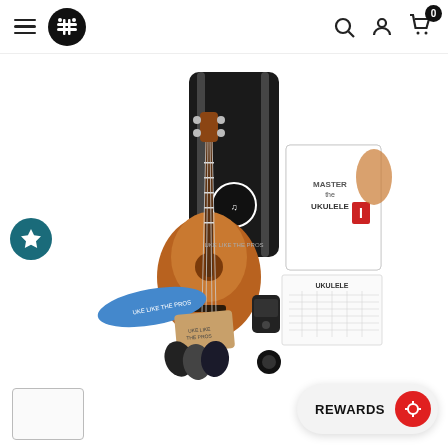Navigation bar with hamburger menu, logo, search, account, and cart icons
[Figure (photo): Ukulele starter kit product photo showing a wooden ukulele, black gig bag with logo, Master the Ukulele 1 book, ukulele chord chart, tuner, picks, cleaning cloth, strap, and other accessories laid out on a white background]
[Figure (logo): Dark teal circular badge with a white star icon on the left side of the product image]
[Figure (other): Small thumbnail image box at the bottom left (appears to be an alternate product view)]
REWARDS